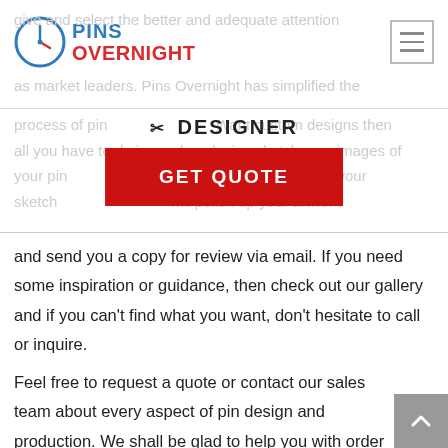Pins Overnight - DESIGNER
✂ DESIGNER
GET QUOTE
and send you a copy for review via email. If you need some inspiration or guidance, then check out our gallery and if you can't find what you want, don't hesitate to call or inquire.
Feel free to request a quote or contact our sales team about every aspect of pin design and production. We shall be glad to help you with order process of baseball